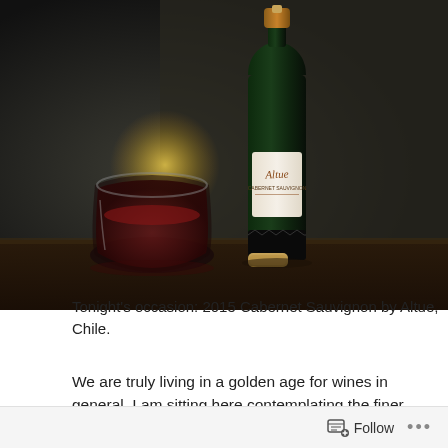[Figure (photo): Photo of a wine bottle labeled Altue Cabernet Sauvignon next to a stemless glass of red wine and a cork on a dark wooden surface, with a blurred warm light in the background.]
Tonight's occasion: 2015 Cabernet Sauvignon by Altue, Chile.
We are truly living in a golden age for wines in general. I am sitting here contemplating the finer points of a great little value from what was once one of the world's Chil...
Follow ...